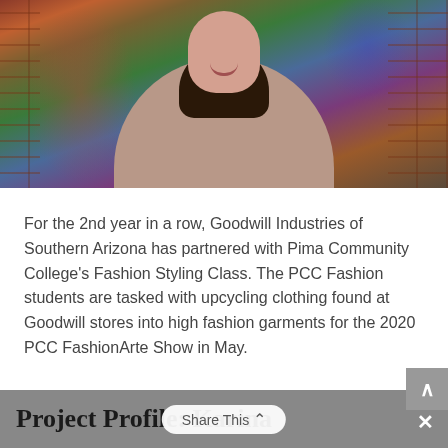[Figure (photo): A young woman with dark hair smiling, wearing an off-shoulder gray-pink top, seated in front of a colorful graffiti mural with brick walls on the sides.]
For the 2nd year in a row, Goodwill Industries of Southern Arizona has partnered with Pima Community College's Fashion Styling Class. The PCC Fashion students are tasked with upcycling clothing found at Goodwill stores into high fashion garments for the 2020 PCC FashionArte Show in May.
Project Profile: Karina